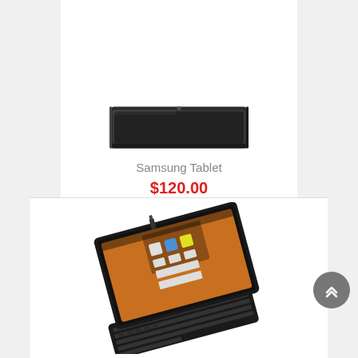[Figure (photo): Samsung tablet viewed from above/back, dark/black color, shown at top of product card]
Samsung Tablet
$120.00
[Figure (photo): Tablet in a black keyboard case/cover, shown at an angle on second product card]